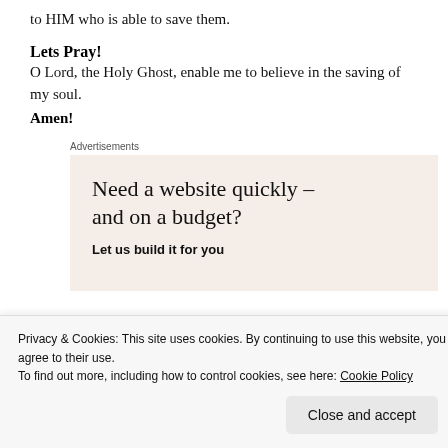to HIM who is able to save them.
Lets Pray!
O Lord, the Holy Ghost, enable me to believe in the saving of my soul.
Amen!
Advertisements
[Figure (other): Advertisement banner: 'Need a website quickly – and on a budget? Let us build it for you']
Privacy & Cookies: This site uses cookies. By continuing to use this website, you agree to their use. To find out more, including how to control cookies, see here: Cookie Policy